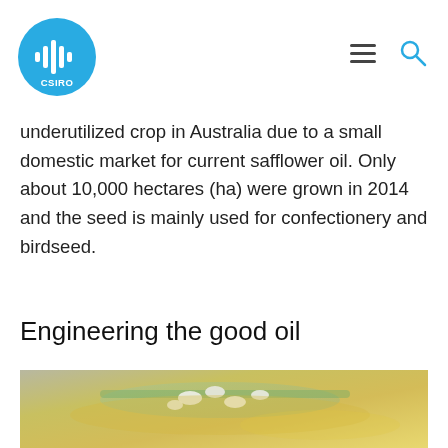CSIRO
underutilized crop in Australia due to a small domestic market for current safflower oil. Only about 10,000 hectares (ha) were grown in 2014 and the seed is mainly used for confectionery and birdseed.
Engineering the good oil
[Figure (photo): Close-up photograph of safflower seeds and oil on a spoon or glass surface, showing white seeds surrounded by golden oil.]